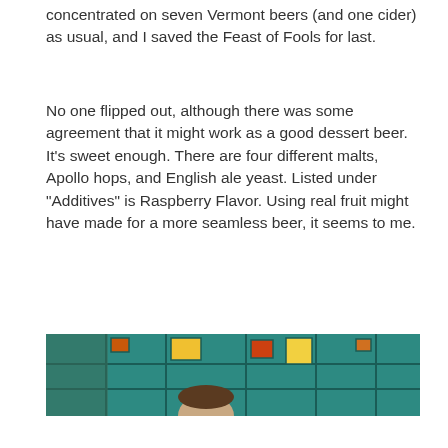concentrated on seven Vermont beers (and one cider) as usual, and I saved the Feast of Fools for last.
No one flipped out, although there was some agreement that it might work as a good dessert beer. It’s sweet enough. There are four different malts, Apollo hops, and English ale yeast. Listed under “Additives” is Raspberry Flavor. Using real fruit might have made for a more seamless beer, it seems to me.
[Figure (photo): A wide horizontal photo showing a person (head visible at bottom center) against a teal/green wall with colorful rectangular geometric shapes (orange, yellow, red) arranged on the wall, resembling a Mondrian-style decoration.]